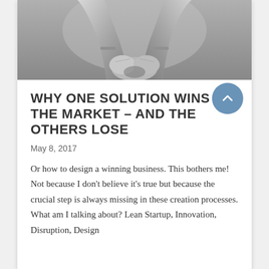[Figure (photo): Black and white photograph showing clasped or interlocked hands/wrists, cropped to show arms and hands only]
WHY ONE SOLUTION WINS THE MARKET – AND THE OTHERS LOSE
May 8, 2017
Or how to design a winning business. This bothers me! Not because I don't believe it's true but because the crucial step is always missing in these creation processes. What am I talking about? Lean Startup, Innovation, Disruption, Design